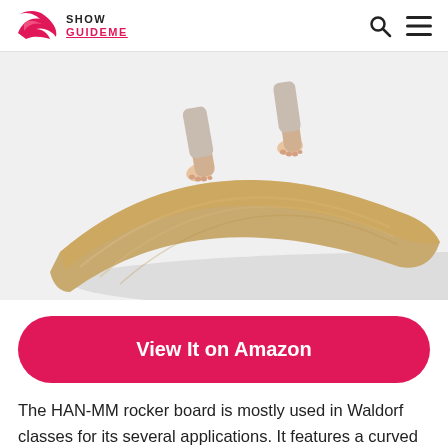SHOW GUIDEME
[Figure (photo): Child standing barefoot on a curved wooden rocker balance board (Waldorf-style). The board has a natural wood finish and is curved/bent in an arc shape. The child's bare feet and lower legs are visible standing on top of the board.]
View It on Amazon
The HAN-MM rocker board is mostly used in Waldorf classes for its several applications. It features a curved design that gives room for creative use by your children. They can use it to slide, as a toy car road, as a beam balance, toy bed, resting spot, you name them. Adults will also find this strong board useful as a step stool, lap table